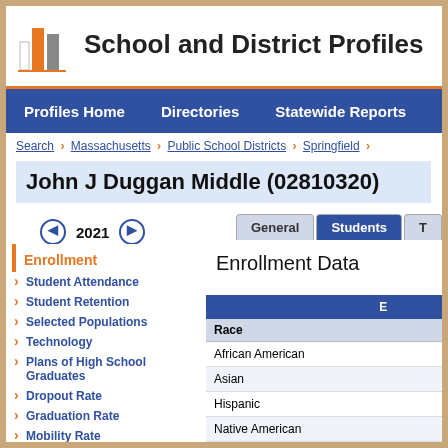School and District Profiles
Profiles Home   Directories   Statewide Reports   Sta
Search > Massachusetts > Public School Districts > Springfield >
John J Duggan Middle (02810320)
◄ 2021 ►   General   Students   T
Enrollment
Student Attendance
Student Retention
Selected Populations
Technology
Plans of High School Graduates
Dropout Rate
Graduation Rate
Mobility Rate
MassCore Completion
Attrition Rates
Class Size by Gender and Selected Population
Enrollment Data
|  | E |
| --- | --- |
| Race |  |
| African American |  |
| Asian |  |
| Hispanic |  |
| Native American |  |